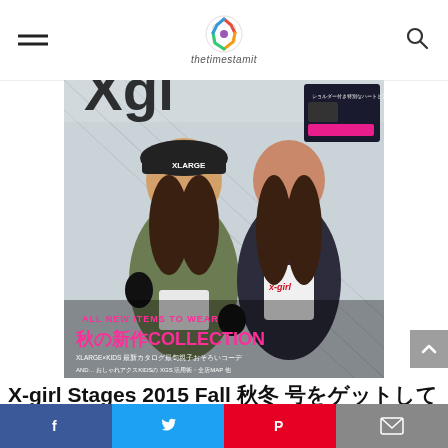thetimestamit
[Figure (photo): Magazine cover of X-girl Stages 2015 Fall issue featuring two young girls posing outdoors in front of a chain-link fence. Left girl wears olive bomber jacket, black hat with XLARGE logo, black gloves. Right girl wears X-girl logo white t-shirt, dark cardigan. Text on cover: ALL NEW ITEMS TO WEAR / 秋の新作COLLECTION / XLARGE KIDS / AND more.]
X-girl Stages 2015 Fall 秋冬 号をゲットしてBIGプレゼント（付録
Facebook | Twitter | Pinterest | Email